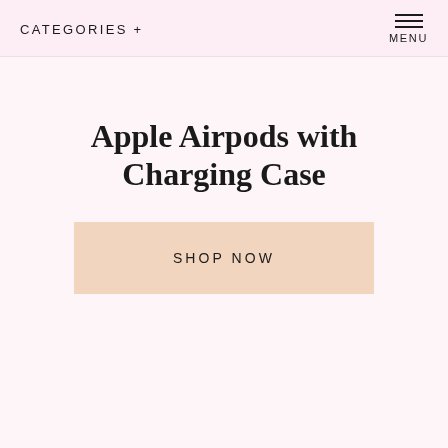CATEGORIES +
Apple Airpods with Charging Case
SHOP NOW